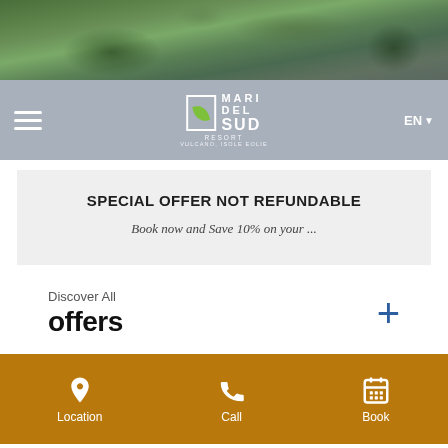[Figure (photo): Aerial drone photo of a green resort property with buildings and grounds, viewed from above.]
Mari del Sud Resort — VULCANO, ISOLE EOLIE — EN navigation bar with hamburger menu
SPECIAL OFFER NOT REFUNDABLE
Book now and Save 10% on your ...
Discover All
offers
Location | Call | Book